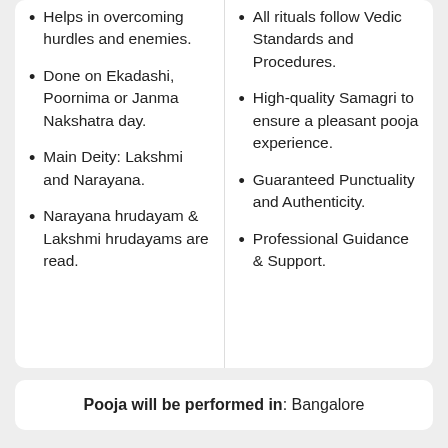Helps in overcoming hurdles and enemies.
Done on Ekadashi, Poornima or Janma Nakshatra day.
Main Deity: Lakshmi and Narayana.
Narayana hrudayam & Lakshmi hrudayams are read.
All rituals follow Vedic Standards and Procedures.
High-quality Samagri to ensure a pleasant pooja experience.
Guaranteed Punctuality and Authenticity.
Professional Guidance & Support.
Pooja will be performed in: Bangalore